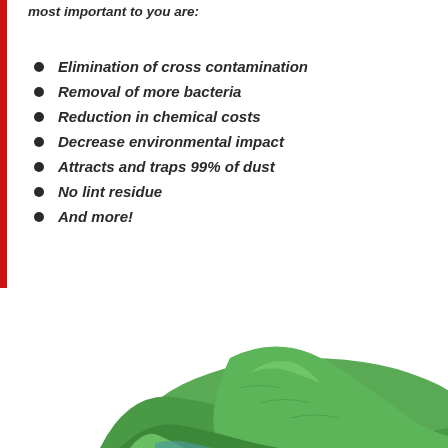most important to you are:
Elimination of cross contamination
Removal of more bacteria
Reduction in chemical costs
Decrease environmental impact
Attracts and traps 99% of dust
No lint residue
And more!
[Figure (photo): Green microfiber cloth folded and draped, shown at the bottom of the page]